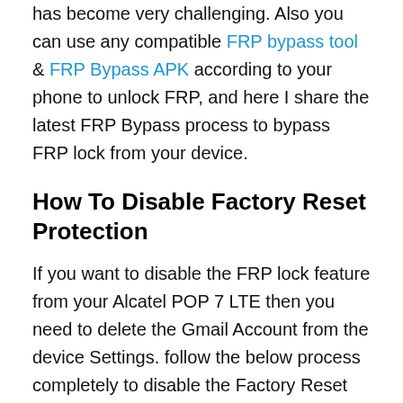has become very challenging. Also you can use any compatible FRP bypass tool & FRP Bypass APK according to your phone to unlock FRP, and here I share the latest FRP Bypass process to bypass FRP lock from your device.
How To Disable Factory Reset Protection
If you want to disable the FRP lock feature from your Alcatel POP 7 LTE then you need to delete the Gmail Account from the device Settings. follow the below process completely to disable the Factory Reset